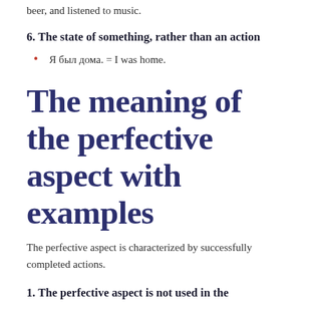beer, and listened to music.
6. The state of something, rather than an action
Я был дома. = I was home.
The meaning of the perfective aspect with examples
The perfective aspect is characterized by successfully completed actions.
1. The perfective aspect is not used in the